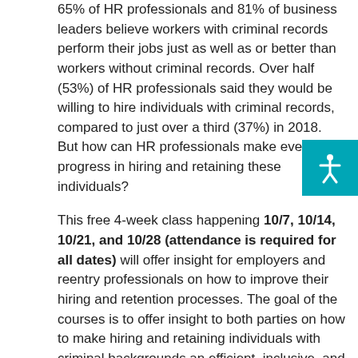65% of HR professionals and 81% of business leaders believe workers with criminal records perform their jobs just as well as or better than workers without criminal records. Over half (53%) of HR professionals said they would be willing to hire individuals with criminal records, compared to just over a third (37%) in 2018. But how can HR professionals make even more progress in hiring and retaining these individuals?
This free 4-week class happening 10/7, 10/14, 10/21, and 10/28 (attendance is required for all dates) will offer insight for employers and reentry professionals on how to improve their hiring and retention processes. The goal of the courses is to offer insight to both parties on how to make hiring and retaining individuals with criminal backgrounds an efficient, inclusive, and mutually beneficial process.
[Figure (illustration): Teal/cyan square button with white accessibility icon (person with arms outstretched)]